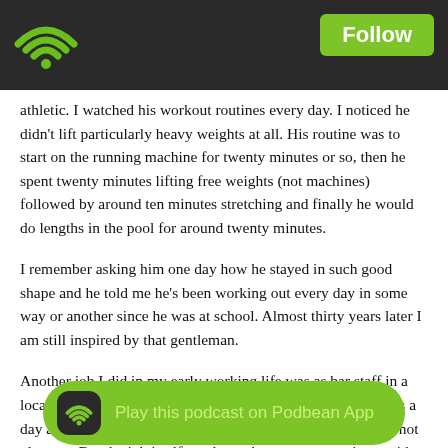Podbean app header with WiFi logo and Follow button
athletic. I watched his workout routines every day. I noticed he didn't lift particularly heavy weights at all. His routine was to start on the running machine for twenty minutes or so, then he spent twenty minutes lifting free weights (not machines) followed by around ten minutes stretching and finally he would do lengths in the pool for around twenty minutes.
I remember asking him one day how he stayed in such good shape and he told me he's been working out every day in some way or another since he was at school. Almost thirty years later I am still inspired by that gentleman.
Another job I did in my early working life was as bar staff in a local pub in England. Being on your feet for six to eight hours a day and coming home stinking of cigarettes and alcohol was not pleasant. But the job itself taught me how to communicate with people. I am not by nature a people person. But working in the bar, taught me to communicate and I met some incredibly interesting people.
Sure, there were days when I got roped in to even changing a barrel, I al... ons and many broken glasses. But it was an experience I will never forget
[Figure (infographic): Podbean App promotional pill button with WiFi icon and text 'Play this podcast on Podbean App' on a green rounded rectangle background]